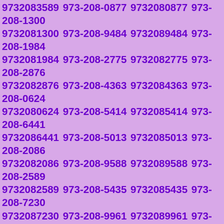9732083589 973-208-0877 9732080877 973-208-1300 9732081300 973-208-9484 9732089484 973-208-1984 9732081984 973-208-2775 9732082775 973-208-2876 9732082876 973-208-4363 9732084363 973-208-0624 9732080624 973-208-5414 9732085414 973-208-6441 9732086441 973-208-5013 9732085013 973-208-2086 9732082086 973-208-9588 9732089588 973-208-2589 9732082589 973-208-5435 9732085435 973-208-7230 9732087230 973-208-9961 9732089961 973-208-9314 9732089314 973-208-9778 9732089778 973-208-4705 9732084705 973-208-0534 9732080534 973-208-2396 9732082396 973-208-2044 9732082044 973-208-8946 9732088946 973-208-7750 9732087750 973-208-5454 9732085454 973-208-6950 9732086950 973-208-3754 9732083754 973-208-3682 9732083682 973-208-1272 9732081272 973-208-9591 9732089591 973-208-1514 9732081514 973-208-2105 9732082105 973-208-1028 9732081028 973-208-0376 9732080376 973-208-3487 9732083487 973-208-8509 9732088509 973-208-6283 9732086283 973-208-0076 9732080076 973-208-3155 9732083155 973-208-5102 9732085102 973-208-8206